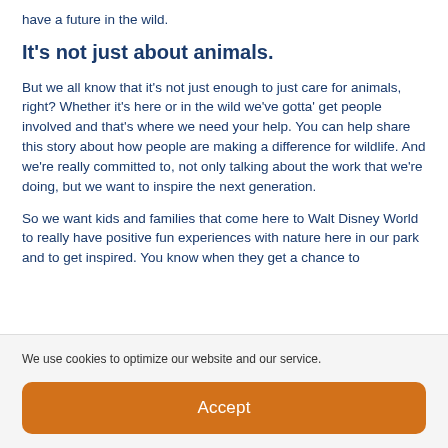have a future in the wild.
It's not just about animals.
But we all know that it's not just enough to just care for animals, right? Whether it's here or in the wild we've gotta' get people involved and that's where we need your help. You can help share this story about how people are making a difference for wildlife. And we're really committed to, not only talking about the work that we're doing, but we want to inspire the next generation.
So we want kids and families that come here to Walt Disney World to really have positive fun experiences with nature here in our park and to get inspired. You know when they get a chance to
We use cookies to optimize our website and our service.
Accept